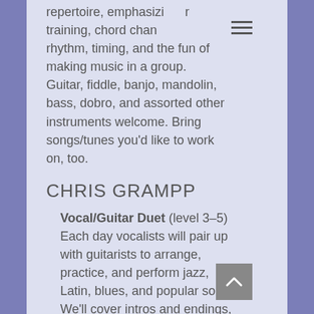repertoire, emphasizing ear training, chord changes, rhythm, timing, and the fun of making music in a group. Guitar, fiddle, banjo, mandolin, bass, dobro, and assorted other instruments welcome. Bring songs/tunes you'd like to work on, too.
CHRIS GRAMPP
Vocal/Guitar Duet (level 3–5) Each day vocalists will pair up with guitarists to arrange, practice, and perform jazz, Latin, blues, and popular songs. We'll cover intros and endings, modulations, rhythm, tempo, accompaniment techniques, and improvisational interplay.